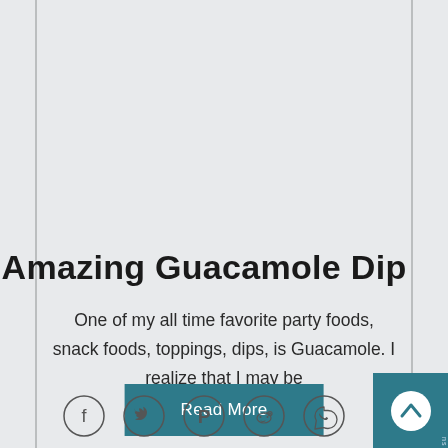Amazing Guacamole Dip
One of my all time favorite party foods, snack foods, toppings, dips, is Guacamole. I realize that I may be
[Figure (other): Read More button linking to full article, teal/dark cyan background with white text]
[Figure (other): Social share icons row: Facebook, Twitter, Pinterest, Reddit, WhatsApp — circular outline icons]
[Figure (other): Back to top button, teal square in bottom right corner with white upward chevron arrow]